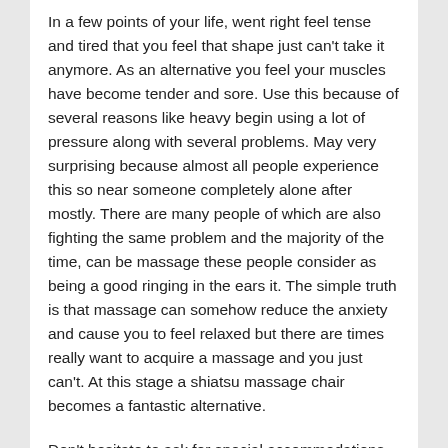In a few points of your life, went right feel tense and tired that you feel that shape just can't take it anymore. As an alternative you feel your muscles have become tender and sore. Use this because of several reasons like heavy begin using a lot of pressure along with several problems. May very surprising because almost all people experience this so near someone completely alone after mostly. There are many people of which are also fighting the same problem and the majority of the time, can be massage these people consider as being a good ringing in the ears it. The simple truth is that massage can somehow reduce the anxiety and cause you to feel relaxed but there are times really want to acquire a massage and you just can't. At this stage a shiatsu massage chair becomes a fantastic alternative.
Don't hesitate to ask for special accommodations during your massage. For example, I have a few clients who struggle to turn from their belly due to their back. Thus start about the back as it would be easier to turn from in order to belly. Or if heat in the table forces you to be feel